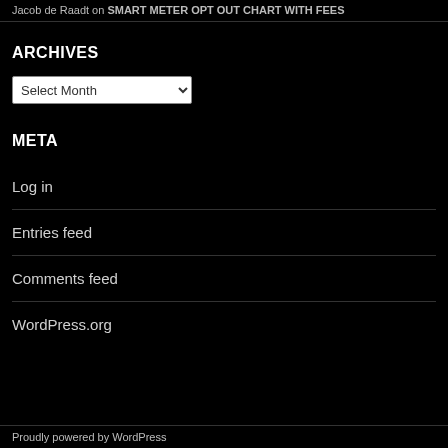Jacob de Raadt on SMART METER OPT OUT CHART WITH FEES
ARCHIVES
Select Month
META
Log in
Entries feed
Comments feed
WordPress.org
Proudly powered by WordPress